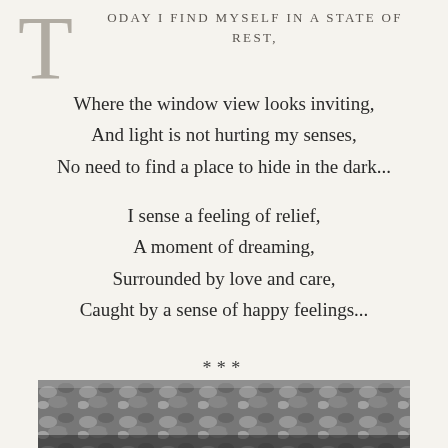TODAY I FIND MYSELF IN A STATE OF rest,
Where the window view looks inviting,
And light is not hurting my senses,
No need to find a place to hide in the dark...
I sense a feeling of relief,
A moment of dreaming,
Surrounded by love and care,
Caught by a sense of happy feelings...
***
[Figure (photo): Black and white photograph of leaves or foliage covering the ground]